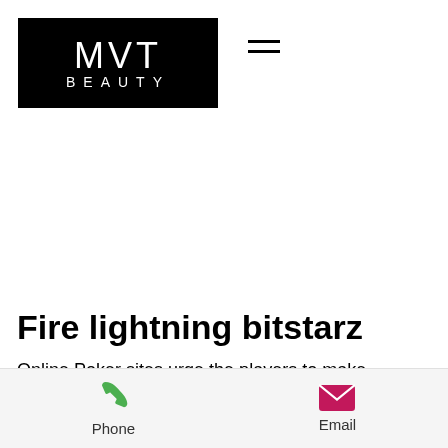[Figure (logo): MVT Beauty logo — white text on black background, 'MVT' large with letter-spacing, 'BEAUTY' smaller with letter-spacing below]
Fire lightning bitstarz
Online Poker sites urge the players to make deposits with Bitcoin, because they can end up getting various kinds of sign-up bonuses
Phone   Email